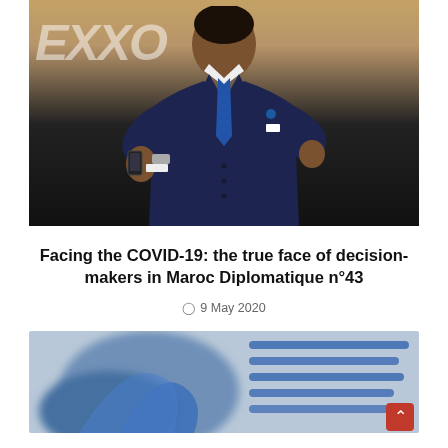[Figure (photo): Man in dark navy suit with blue tie holding a microphone, speaking at an event with EXXO branding in the background]
Facing the COVID-19: the true face of decision-makers in Maroc Diplomatique n°43
9 May 2020
[Figure (photo): Blurred close-up image of what appears to be medical or office materials with blue curved shapes]